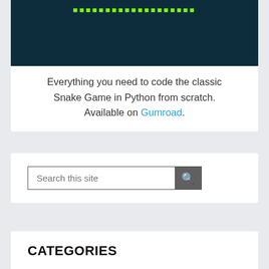[Figure (screenshot): Dark teal/navy background with green monospace text — partial screenshot of a Snake Game Python course product image]
Everything you need to code the classic Snake Game in Python from scratch. Available on Gumroad.
Search this site
CATEGORIES